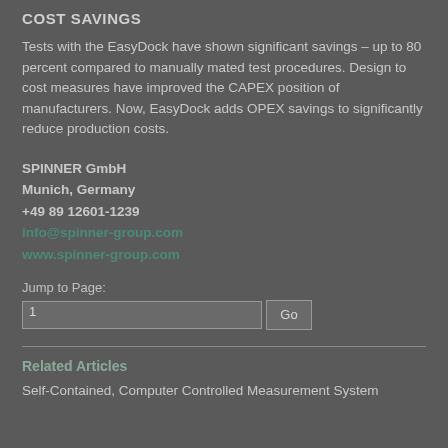COST SAVINGS
Tests with the EasyDock have shown significant savings – up to 80 percent compared to manually mated test procedures. Design to cost measures have improved the CAPEX position of manufacturers. Now, EasyDock adds OPEX savings to significantly reduce production costs.
SPINNER GmbH
Munich, Germany
+49 89 12601-1239
info@spinner-group.com
www.spinner-group.com
Jump to Page:
Related Articles
Self-Contained, Computer Controlled Measurement System